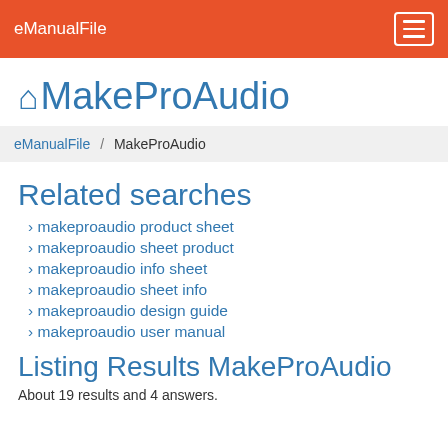eManualFile
MakeProAudio
eManualFile / MakeProAudio
Related searches
makeproaudio product sheet
makeproaudio sheet product
makeproaudio info sheet
makeproaudio sheet info
makeproaudio design guide
makeproaudio user manual
Listing Results MakeProAudio
About 19 results and 4 answers.